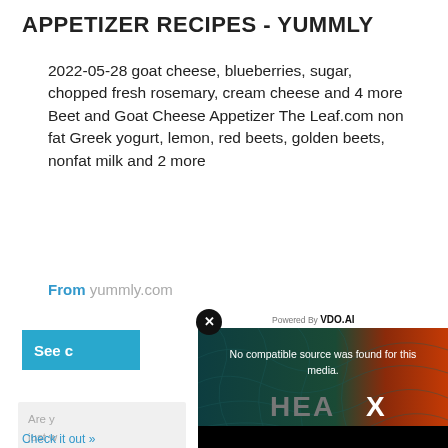APPETIZER RECIPES - YUMMLY
2022-05-28 goat cheese, blueberries, sugar, chopped fresh rosemary, cream cheese and 4 more Beet and Goat Cheese Appetizer The Leaf.com non fat Greek yogurt, lemon, red beets, golden beets, nonfat milk and 2 more
From yummly.com
[Figure (screenshot): Video ad overlay with dark teal topographic background, message 'No compatible source was found for this media.', HEA X logo, and Powered By VDO.AI label. A close button (x) is in the top-left corner of the overlay.]
See c
Are y just w nutri help y meth
Check it out »